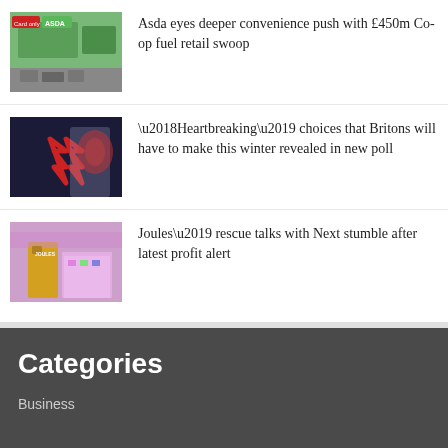[Figure (photo): Asda convenience store exterior with cars]
Asda eyes deeper convenience push with £450m Co-op fuel retail swoop
[Figure (photo): Red arrows on dark background with hands]
‘Heartbreaking’ choices that Britons will have to make this winter revealed in new poll
[Figure (photo): Joules store front with shoppers]
Joules’ rescue talks with Next stumble after latest profit alert
Categories
Business